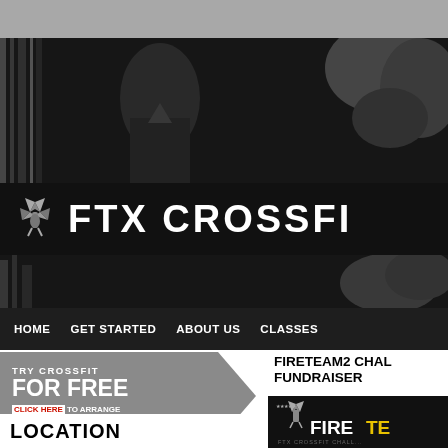[Figure (photo): Black and white gym/CrossFit photo showing athletes and equipment, top header image]
FTX CROSSFIT
HOME   GET STARTED   ABOUT US   CLASSES
[Figure (photo): FTX CrossFit logo with stylized bee/wings icon above text]
TRY CROSSFIT FOR FREE CLICK HERE TO ARRANGE FOR A FREE SESSION
FIRETEAM2 CHALLENGE FUNDRAISER
LOCATION
[Figure (photo): Fireteam2 FTX CrossFit Challenge promotional image with logo]